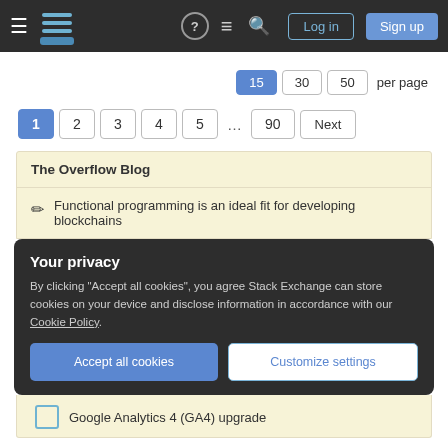Stack Exchange navigation header with logo, icons, Log in and Sign up buttons
15  30  50  per page
1  2  3  4  5  ...  90  Next
The Overflow Blog
Functional programming is an ideal fit for developing blockchains
Your privacy
By clicking "Accept all cookies", you agree Stack Exchange can store cookies on your device and disclose information in accordance with our Cookie Policy.
Accept all cookies   Customize settings
Google Analytics 4 (GA4) upgrade